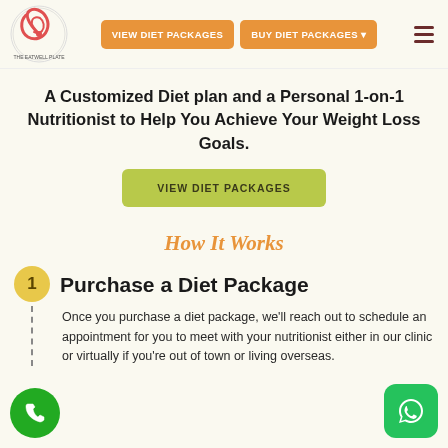[Figure (logo): The Eatwell Plate circular logo with red/pink swirl design]
VIEW DIET PACKAGES
BUY DIET PACKAGES ▾
A Customized Diet plan and a Personal 1-on-1 Nutritionist to Help You Achieve Your Weight Loss Goals.
VIEW DIET PACKAGES
How It Works
1
Purchase a Diet Package
Once you purchase a diet package, we'll reach out to schedule an appointment for you to meet with your nutritionist either in our clinic or virtually if you're out of town or living overseas.